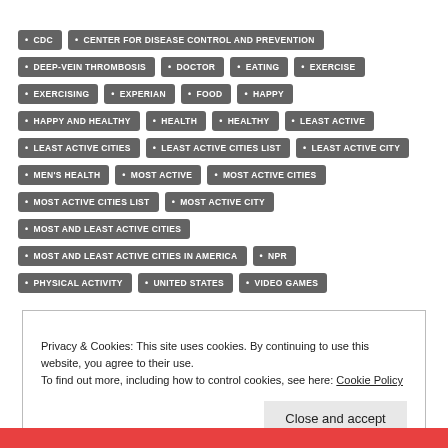CDC
CENTER FOR DISEASE CONTROL AND PREVENTION
DEEP-VEIN THROMBOSIS
DOCTOR
EATING
EXERCISE
EXERCISING
EXPERIAN
FOOD
HAPPY
HAPPY AND HEALTHY
HEALTH
HEALTHY
LEAST ACTIVE
LEAST ACTIVE CITIES
LEAST ACTIVE CITIES LIST
LEAST ACTIVE CITY
MEN'S HEALTH
MOST ACTIVE
MOST ACTIVE CITIES
MOST ACTIVE CITIES LIST
MOST ACTIVE CITY
MOST AND LEAST ACTIVE CITIES
MOST AND LEAST ACTIVE CITIES IN AMERICA
NPR
PHYSICAL ACTIVITY
UNITED STATES
VIDEO GAMES
Privacy & Cookies: This site uses cookies. By continuing to use this website, you agree to their use.
To find out more, including how to control cookies, see here: Cookie Policy
Close and accept